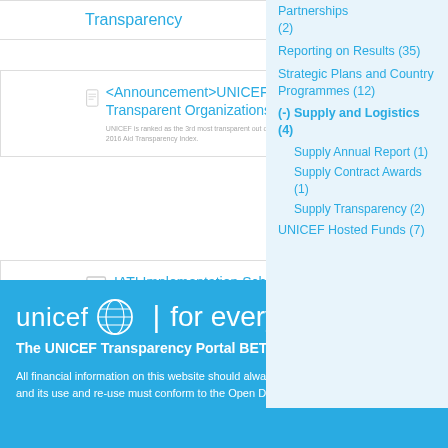Transparency
<Announcement>UNICEF among the Most Transparent Organizations Worldwide
UNICEF is ranked as the 3rd most transparent out of 46 major donor organisations worldwide in the 2016 Aid Transparency Index.
IATI Implementation Schedule (UNICEF)
Schedule for achieving transparency commitments (updated October 2015)
1  2  >  >>
Partnerships (2)
Reporting on Results (35)
Strategic Plans and Country Programmes (12)
(-) Supply and Logistics (4)
Supply Annual Report (1)
Supply Contract Awards (1)
Supply Transparency (2)
UNICEF Hosted Funds (7)
unicef  |  for every child
The UNICEF Transparency Portal BETA
All financial information on this website should always be considered as provisional and its use and re-use must conform to the Open Database